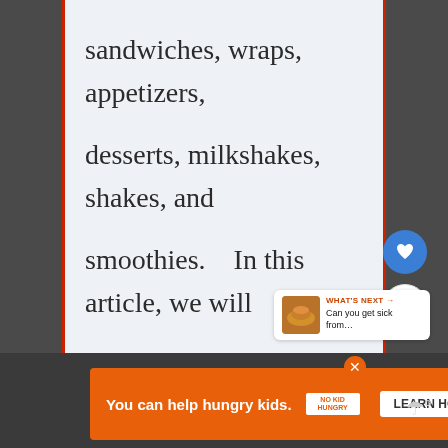sandwiches, wraps, appetizers, desserts, milkshakes, shakes, and smoothies.   In this article, we will answer the question “Can you freeze beyond burger?”…
[Figure (screenshot): UI floating action buttons: heart icon (blue circle) and share icon (white circle)]
[Figure (screenshot): What's Next widget with thumbnail and text: 'Can you get sick from...']
[Figure (screenshot): Orange advertisement banner: 'You can help hungry kids. NO KID HUNGRY LEARN HOW']